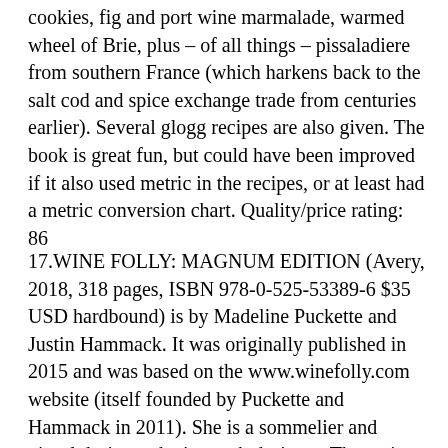cookies, fig and port wine marmalade, warmed wheel of Brie, plus – of all things – pissaladiere from southern France (which harkens back to the salt cod and spice exchange trade from centuries earlier). Several glogg recipes are also given. The book is great fun, but could have been improved if it also used metric in the recipes, or at least had a metric conversion chart. Quality/price rating: 86
17.WINE FOLLY: MAGNUM EDITION (Avery, 2018, 318 pages, ISBN 978-0-525-53389-6 $35 USD hardbound) is by Madeline Puckette and Justin Hammack. It was originally published in 2015 and was based on the www.winefolly.com website (itself founded by Puckette and Hammack in 2011). She is a sommelier and visual designer; he is a web designer. The main